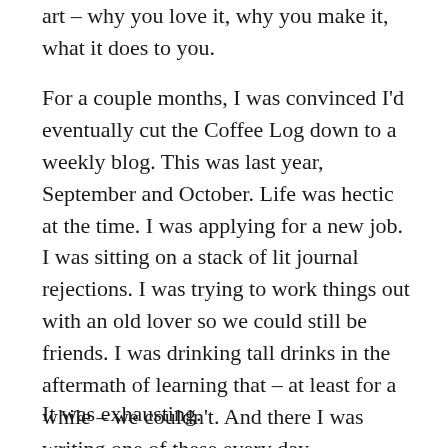art – why you love it, why you make it, what it does to you.
For a couple months, I was convinced I'd eventually cut the Coffee Log down to a weekly blog. This was last year, September and October. Life was hectic at the time. I was applying for a new job. I was sitting on a stack of lit journal rejections. I was trying to work things out with an old lover so we could still be friends. I was drinking tall drinks in the aftermath of learning that – at least for a while – we couldn't. And there I was writing one of these every day.
It was exhausting.